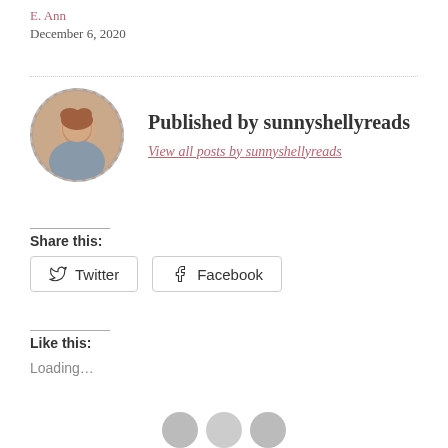E. Ann
December 6, 2020
Published by sunnyshellyreads
View all posts by sunnyshellyreads
Share this:
Twitter
Facebook
Like this:
Loading…